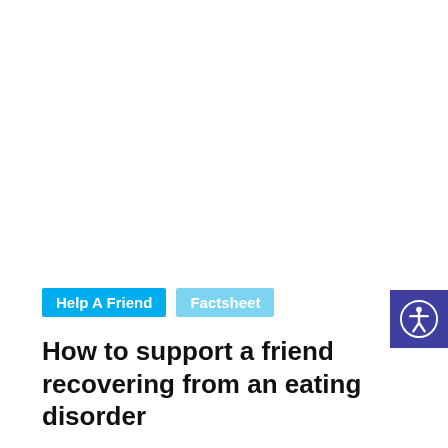[Figure (other): Accessibility widget button — blue square with white person-in-circle icon, positioned at top right]
Help A Friend
Factsheet
How to support a friend recovering from an eating disorder
Written by spunout
There are a few things you can do to help a friend in